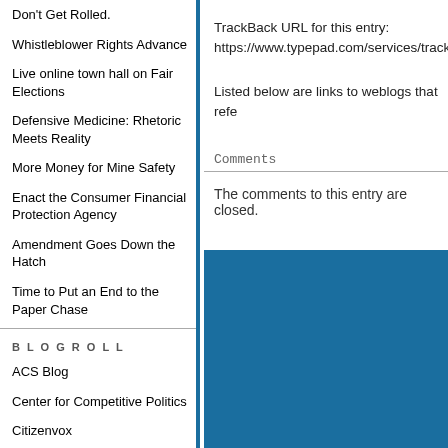Don't Get Rolled.
Whistleblower Rights Advance
Live online town hall on Fair Elections
Defensive Medicine: Rhetoric Meets Reality
More Money for Mine Safety
Enact the Consumer Financial Protection Agency
Amendment Goes Down the Hatch
Time to Put an End to the Paper Chase
BLOGROLL
ACS Blog
Center for Competitive Politics
Citizenvox
TrackBack URL for this entry: https://www.typepad.com/services/trackba
Listed below are links to weblogs that refe
Comments
The comments to this entry are closed.